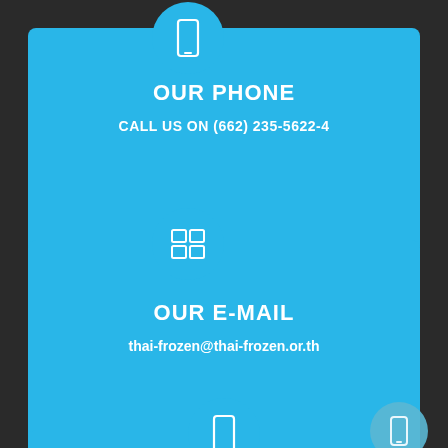[Figure (infographic): Blue card with phone icon circle at top, showing OUR PHONE heading and CALL US ON (662) 235-5622-4]
OUR PHONE
CALL US ON (662) 235-5622-4
[Figure (infographic): Blue card with grid/email icon circle at top, showing OUR E-MAIL heading and thai-frozen@thai-frozen.or.th]
OUR E-MAIL
thai-frozen@thai-frozen.or.th